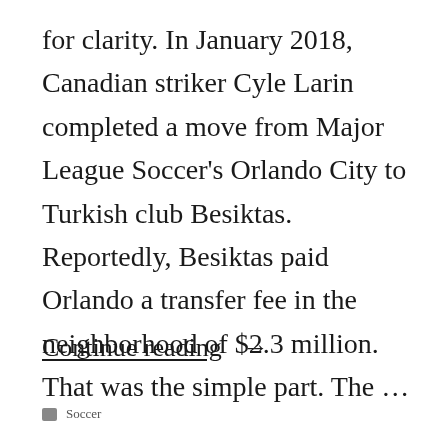for clarity. In January 2018, Canadian striker Cyle Larin completed a move from Major League Soccer's Orlando City to Turkish club Besiktas. Reportedly, Besiktas paid Orlando a transfer fee in the neighborhood of $2.3 million. That was the simple part. The ...
Continue reading →
Soccer